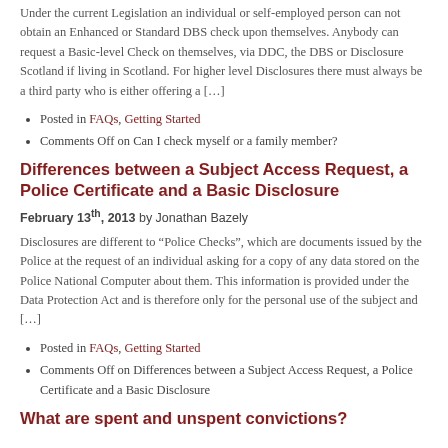Under the current Legislation an individual or self-employed person can not obtain an Enhanced or Standard DBS check upon themselves. Anybody can request a Basic-level Check on themselves, via DDC, the DBS or Disclosure Scotland if living in Scotland. For higher level Disclosures there must always be a third party who is either offering a […]
Posted in FAQs, Getting Started
Comments Off on Can I check myself or a family member?
Differences between a Subject Access Request, a Police Certificate and a Basic Disclosure
February 13th, 2013 by Jonathan Bazely
Disclosures are different to “Police Checks”, which are documents issued by the Police at the request of an individual asking for a copy of any data stored on the Police National Computer about them. This information is provided under the Data Protection Act and is therefore only for the personal use of the subject and […]
Posted in FAQs, Getting Started
Comments Off on Differences between a Subject Access Request, a Police Certificate and a Basic Disclosure
What are spent and unspent convictions?